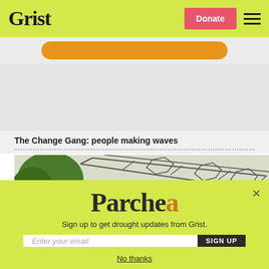Grist | Donate
[Figure (screenshot): Orange rounded button strip below header navigation]
[Figure (photo): Photograph of solar panels with trees in the background]
The Change Gang: people making waves
[Figure (screenshot): Parched newsletter signup modal overlay with email input and SIGN UP button on yellow-green background. Text: Sign up to get drought updates from Grist. No thanks link at bottom.]